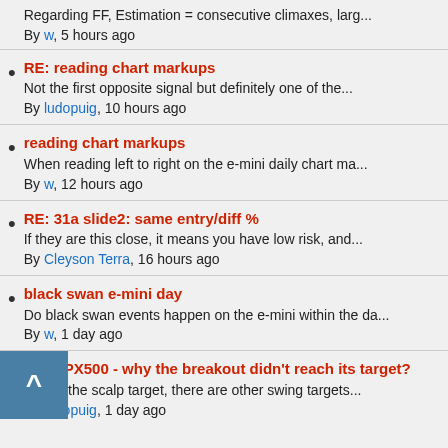Regarding FF, Estimation = consecutive climaxes, larg...
By w, 5 hours ago
RE: reading chart markups
Not the first opposite signal but definitely one of the...
By ludopuig, 10 hours ago
reading chart markups
When reading left to right on the e-mini daily chart ma...
By w, 12 hours ago
RE: 31a slide2: same entry/diff %
If they are this close, it means you have low risk, and...
By Cleyson Terra, 16 hours ago
black swan e-mini day
Do black swan events happen on the e-mini within the da...
By w, 1 day ago
RE: SPX500 - why the breakout didn't reach its target?
This is the scalp target, there are other swing targets...
By ludopuig, 1 day ago